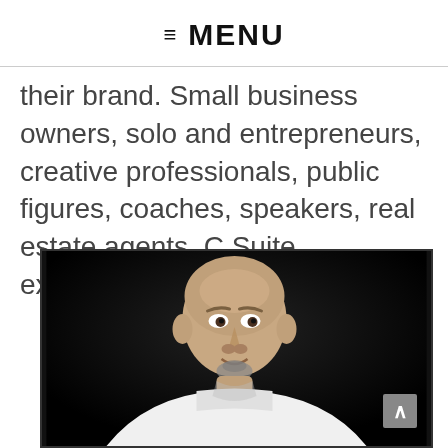≡ MENU
their brand. Small business owners, solo and entrepreneurs, creative professionals, public figures, coaches, speakers, real estate agents, C Suite executives, and more!
[Figure (photo): Professional headshot of a middle-aged bald man with a goatee wearing a white shirt, photographed against a dark background]